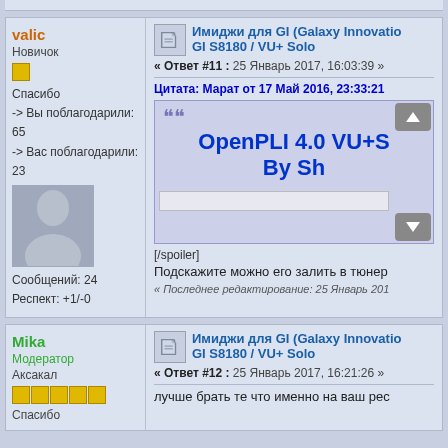valic
Новичок
Спасибо
-> Вы поблагодарили: 65
-> Вас поблагодарили: 23
Сообщений: 24
Респект: +1/-0
Имиджи для GI (Galaxy Innovation) GI S8180 / VU+ Solo
« Ответ #11 : 25 Январь 2017, 16:03:39 »
Цитата: Марат от 17 Май 2016, 23:33:21
OpenPLI 4.0 VU+S
By Sh
[/spoiler]
Подскажите можно его залить в тюнер
« Последнее редактирование: 25 Январь 201
Mika
Модератор
Аксакал
Имиджи для GI (Galaxy Innovation) GI S8180 / VU+ Solo
« Ответ #12 : 25 Январь 2017, 16:21:26 »
лучше брать те что именно на ваш рес